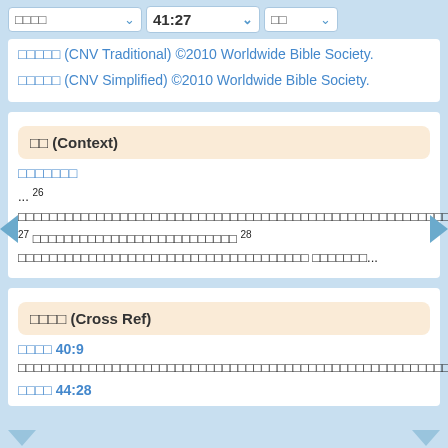□□□□  41:27  □□
□□□□□ (CNV Traditional) ©2010 Worldwide Bible Society.
□□□□□ (CNV Simplified) ©2010 Worldwide Bible Society.
□□ (Context)
□□□□□□□
... 26 □□□□□□□□□□□□□□□□□□□□□□□□□□□□□□□□□□□□□□□□□□□□□□□□□□□□□□□□□□ 27 □□□□□□□□□□□□□□□□□□□□□□□ 28 □□□□□□□□□□□□□□□□□□□□□□□□□□□...
□□□□ (Cross Ref)
□□□□ 40:9
□□□□□□□□□□□□□□□□□□□□□□□□□□□□□□□□□□□□□□□□□□□□□□□□□□□□□□
□□□□ 44:28